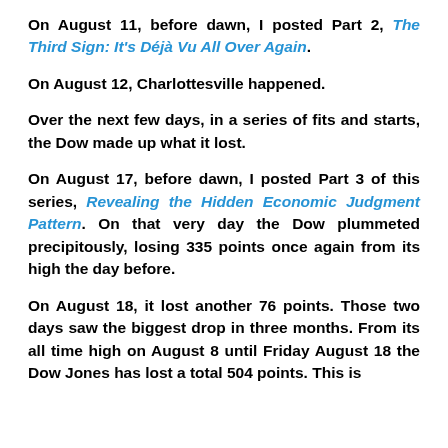On August 11, before dawn, I posted Part 2, The Third Sign: It's Déjà Vu All Over Again.
On August 12, Charlottesville happened.
Over the next few days, in a series of fits and starts, the Dow made up what it lost.
On August 17, before dawn, I posted Part 3 of this series, Revealing the Hidden Economic Judgment Pattern. On that very day the Dow plummeted precipitously, losing 335 points once again from its high the day before.
On August 18, it lost another 76 points. Those two days saw the biggest drop in three months. From its all time high on August 8 until Friday August 18 the Dow Jones has lost a total 504 points. This is